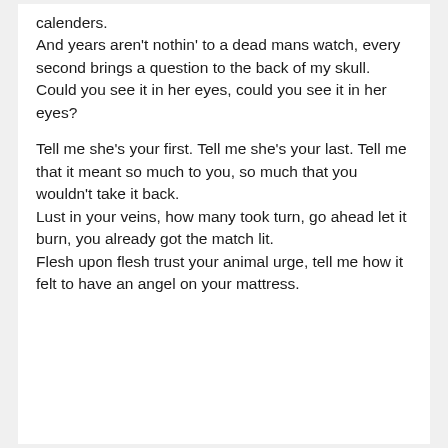calenders.
And years aren’t nothin’ to a dead mans watch, every second brings a question to the back of my skull.
Could you see it in her eyes, could you see it in her eyes?
Tell me she’s your first. Tell me she’s your last. Tell me that it meant so much to you, so much that you wouldn’t take it back.
Lust in your veins, how many took turn, go ahead let it burn, you already got the match lit.
Flesh upon flesh trust your animal urge, tell me how it felt to have an angel on your mattress.